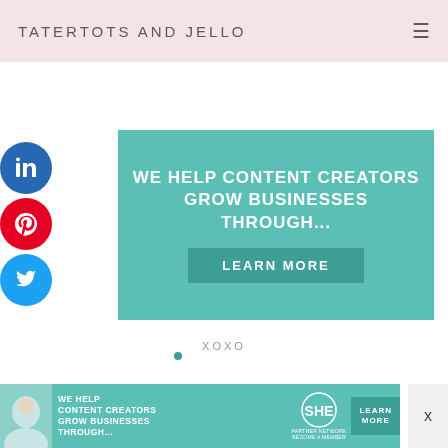TATERTOTS AND JELLO
[Figure (infographic): Teal advertisement banner: WE HELP CONTENT CREATORS GROW BUSINESSES THROUGH... with LEARN MORE button]
[Figure (screenshot): Social media share buttons - LinkedIn (blue circle), Pinterest (red circle), Twitter (blue circle) stacked vertically on left]
xoxo
[Figure (illustration): Cursive signature 'jen' in teal/green color]
PS — It's Friday!!
[Figure (infographic): Bottom advertisement: WE HELP CONTENT CREATORS GROW BUSINESSES THROUGH... SHE PARTNER NETWORK BECOME A MEMBER, LEARN MORE button, with woman photo on left]